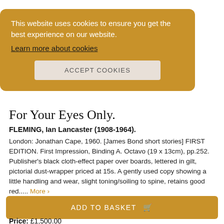This website uses cookies to ensure you get the best experience on our website.
Learn more about cookies
ACCEPT COOKIES
For Your Eyes Only.
FLEMING, Ian Lancaster (1908-1964).
London: Jonathan Cape, 1960. [James Bond short stories] FIRST EDITION. First Impression, Binding A. Octavo (19 x 13cm), pp.252. Publisher's black cloth-effect paper over boards, lettered in gilt, pictorial dust-wrapper priced at 15s. A gently used copy showing a little handling and wear, slight toning/soiling to spine, retains good red..... More ›
ADD TO BASKET
Price: £1,500.00